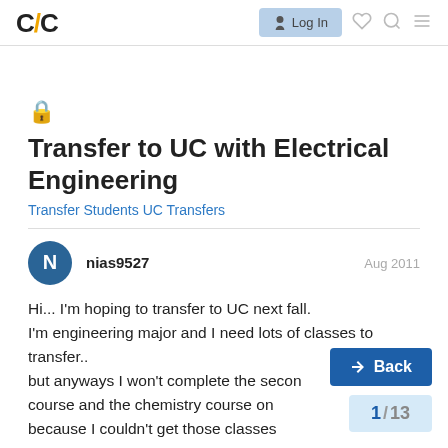C/C  Log In
🔒 Transfer to UC with Electrical Engineering
Transfer Students UC Transfers
nias9527   Aug 2011
Hi... I'm hoping to transfer to UC next fall. I'm engineering major and I need lots of classes to transfer.. but anyways I won't complete the second course and the chemistry course on because I couldn't get those classes